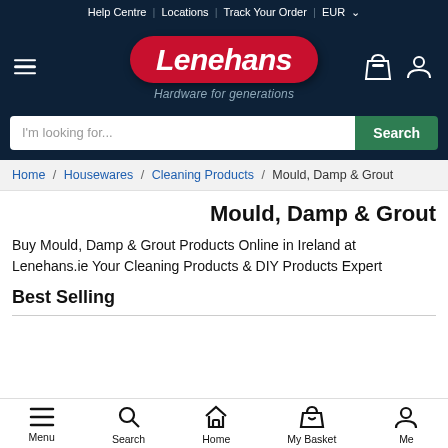Help Centre | Locations | Track Your Order | EUR
[Figure (logo): Lenehans logo — red rounded badge with white italic Lenehans text, tagline 'Hardware for generations' in grey italic below, on dark navy background. Hamburger menu icon left, shopping bag and person icons right.]
I'm looking for...  Search
Home / Housewares / Cleaning Products / Mould, Damp & Grout
Mould, Damp & Grout
Buy Mould, Damp & Grout Products Online in Ireland at Lenehans.ie Your Cleaning Products & DIY Products Expert
Best Selling
Menu  Search  Home  My Basket  Me